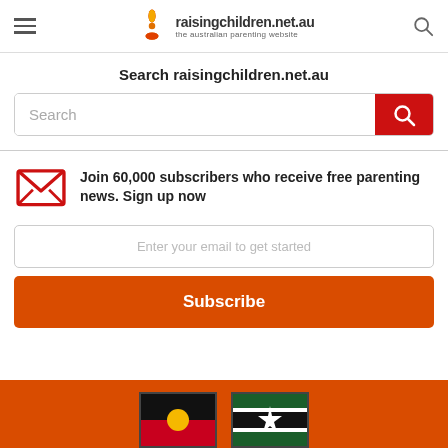raisingchildren.net.au – the australian parenting website
Search raisingchildren.net.au
Search
Join 60,000 subscribers who receive free parenting news. Sign up now
Enter your email to get started
Subscribe
[Figure (illustration): Aboriginal flag and Torres Strait Islander flag at the bottom of the page on an orange background]